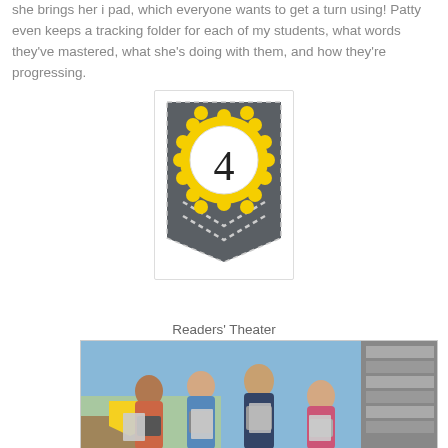she brings her i pad, which everyone wants to get a turn using! Patty even keeps a tracking folder for each of my students, what words they've mastered, what she's doing with them, and how they're progressing.
[Figure (illustration): A dark gray pennant/banner shape with a yellow scalloped circle containing the number 4, with a dashed white border outline on the pennant]
Readers' Theater
[Figure (photo): A classroom photo showing four young children holding up books/papers in front of a blue bulletin board background]